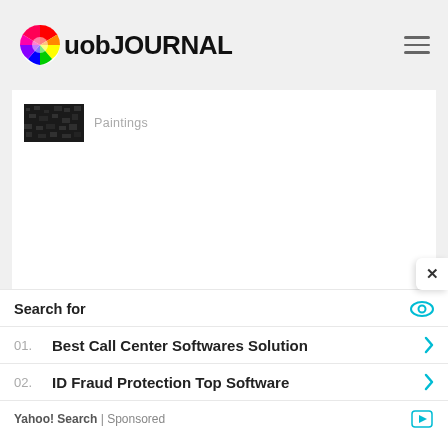uob JOURNAL
[Figure (screenshot): Small dark thumbnail image (painting)]
Paintings
[Figure (screenshot): White content card area (empty)]
Search for
01. Best Call Center Softwares Solution
02. ID Fraud Protection Top Software
Yahoo! Search | Sponsored